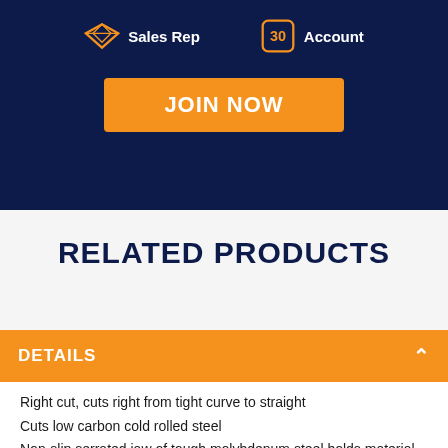[Figure (other): Dark navy banner with Sales Rep icon and Account badge icon, and an orange JOIN NOW button]
RELATED PRODUCTS
DETAILS
Right cut, cuts right from tight curve to straight
Cuts low carbon cold rolled steel
Non-slip serrated jaw of tough molybdenum steel holds material firmly and uniformly spreads cutting force across blade edge
Withstands strain of cutting heavy stock